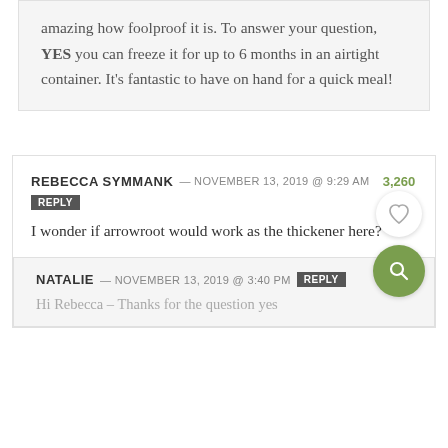amazing how foolproof it is. To answer your question, YES you can freeze it for up to 6 months in an airtight container. It’s fantastic to have on hand for a quick meal!
REBECCA SYMMANK — NOVEMBER 13, 2019 @ 9:29 AM  REPLY
I wonder if arrowroot would work as the thickener here?
NATALIE — NOVEMBER 13, 2019 @ 3:40 PM  REPLY
Hi Rebecca – Thanks for the question yes